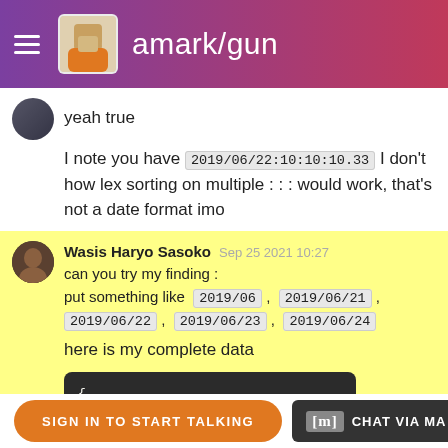amark/gun
yeah true
I note you have 2019/06/22:10:10:10.33 I don't how lex sorting on multiple : : : would work, that's not a date format imo
Wasis Haryo Sasoko  Sep 25 2021 10:27
can you try my finding :
put something like  2019/06 ,  2019/06/21 ,
2019/06/22 ,  2019/06/23 ,  2019/06/24
here is my complete data
{
    "2019/05/25:10:10:10.30": {
        "#": "chat/2019/05/25:10:10:10.30"